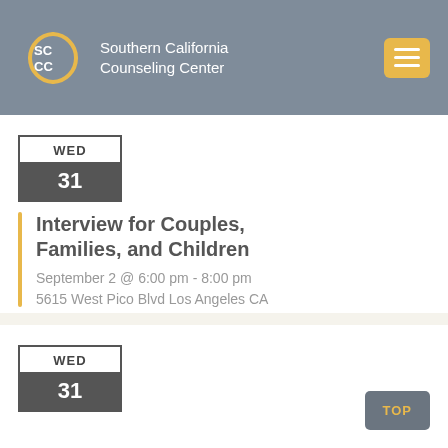Southern California Counseling Center
[Figure (other): Calendar badge showing WED 31]
Interview for Couples, Families, and Children
September 2 @ 6:00 pm - 8:00 pm
5615 West Pico Blvd Los Angeles CA
[Figure (other): Second calendar badge showing WED 31]
TOP